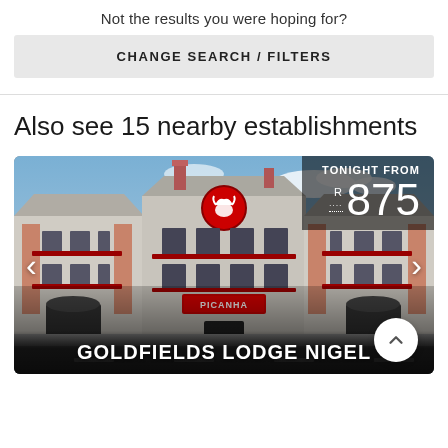Not the results you were hoping for?
CHANGE SEARCH / FILTERS
Also see 15 nearby establishments
[Figure (photo): Hotel building photo showing Goldfields Lodge Nigel, a multi-storey white and brick building with a Picanha restaurant sign, price overlay showing 'TONIGHT FROM R 875', navigation arrows on both sides, and a scroll-up button at bottom right.]